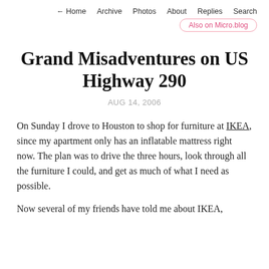← Home   Archive   Photos   About   Replies   Search   Also on Micro.blog
Grand Misadventures on US Highway 290
AUG 14, 2006
On Sunday I drove to Houston to shop for furniture at IKEA, since my apartment only has an inflatable mattress right now. The plan was to drive the three hours, look through all the furniture I could, and get as much of what I need as possible.
Now several of my friends have told me about IKEA,